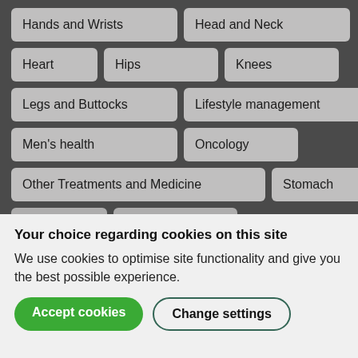Hands and Wrists
Head and Neck
Heart
Hips
Knees
Legs and Buttocks
Lifestyle management
Men's health
Oncology
Other Treatments and Medicine
Stomach
Weight
Women's health
Your choice regarding cookies on this site
We use cookies to optimise site functionality and give you the best possible experience.
Accept cookies
Change settings